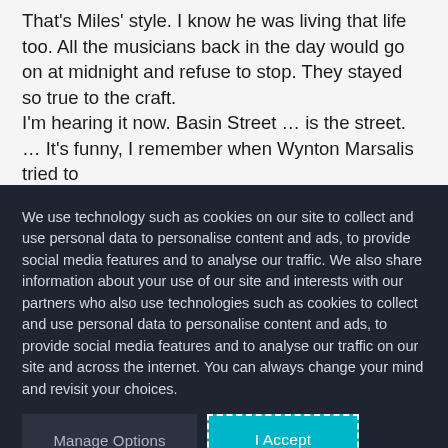That's Miles' style. I know he was living that life too. All the musicians back in the day would go on at midnight and refuse to stop. They stayed so true to the craft.

I'm hearing it now. Basin Street … is the street. … It's funny, I remember when Wynton Marsalis tried to
We use technology such as cookies on our site to collect and use personal data to personalise content and ads, to provide social media features and to analyse our traffic. We also share information about your use of our site and interests with our partners who also use technologies such as cookies to collect and use personal data to personalise content and ads, to provide social media features and to analyse our traffic on our site and across the internet. You can always change your mind and revisit your choices.